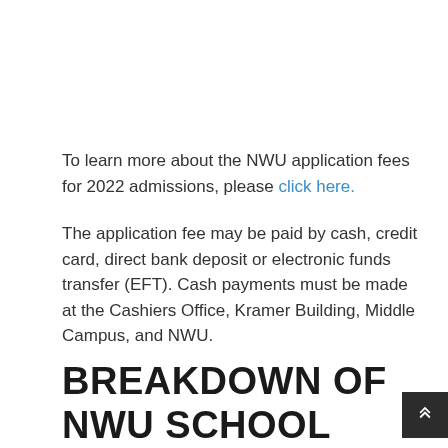To learn more about the NWU application fees for 2022 admissions, please click here.
The application fee may be paid by cash, credit card, direct bank deposit or electronic funds transfer (EFT). Cash payments must be made at the Cashiers Office, Kramer Building, Middle Campus, and NWU.
BREAKDOWN OF NWU SCHOOL FEES